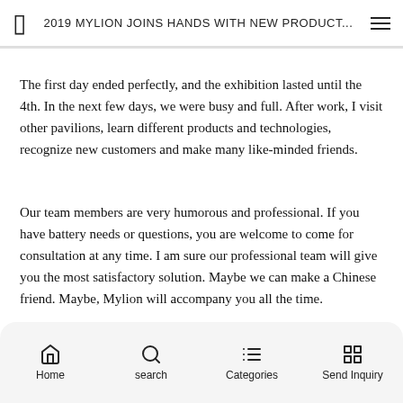2019 MYLION JOINS HANDS WITH NEW PRODUCT...
The first day ended perfectly, and the exhibition lasted until the 4th. In the next few days, we were busy and full. After work, I visit other pavilions, learn different products and technologies, recognize new customers and make many like-minded friends.
Our team members are very humorous and professional. If you have battery needs or questions, you are welcome to come for consultation at any time. I am sure our professional team will give you the most satisfactory solution. Maybe we can make a Chinese friend. Maybe, Mylion will accompany you all the time.
Home  search  Categories  Send Inquiry